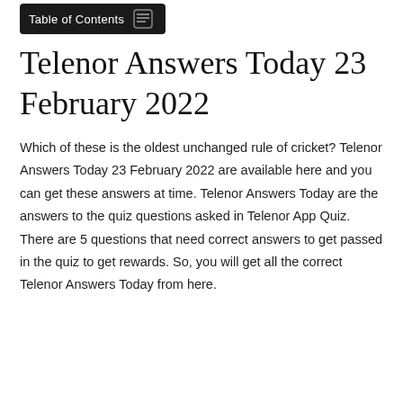Table of Contents
Telenor Answers Today 23 February 2022
Which of these is the oldest unchanged rule of cricket? Telenor Answers Today 23 February 2022 are available here and you can get these answers at time. Telenor Answers Today are the answers to the quiz questions asked in Telenor App Quiz. There are 5 questions that need correct answers to get passed in the quiz to get rewards. So, you will get all the correct Telenor Answers Today from here.